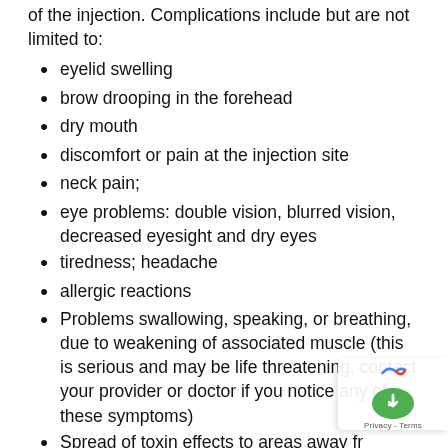of the injection. Complications include but are not limited to:
eyelid swelling
brow drooping in the forehead
dry mouth
discomfort or pain at the injection site
neck pain;
eye problems: double vision, blurred vision, decreased eyesight and dry eyes
tiredness; headache
allergic reactions
Problems swallowing, speaking, or breathing, due to weakening of associated muscle (this is serious and may be life threatening, contact your provider or doctor if you notice any of these symptoms)
Spread of toxin effects to areas away from the injection site